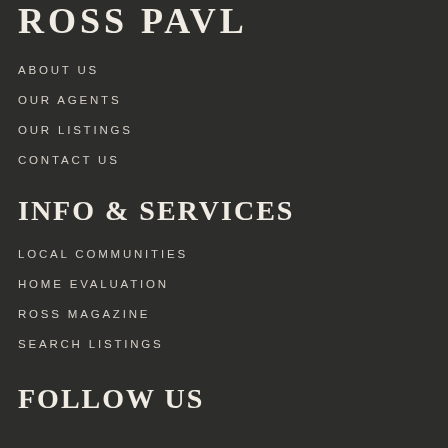ROSS PAVL
ABOUT US
OUR AGENTS
OUR LISTINGS
CONTACT US
INFO & SERVICES
LOCAL COMMUNITIES
HOME EVALUATION
ROSS MAGAZINE
SEARCH LISTINGS
FOLLOW US